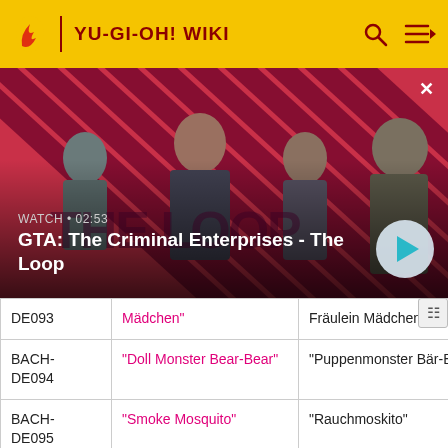YU-GI-OH! WIKI
[Figure (screenshot): GTA: The Criminal Enterprises - The Loop video thumbnail with characters on a red diagonal striped background. Shows WATCH • 02:53 label and play button.]
| DE093 | Mädchen" | Fräulein Mädchen" |
| BACH-DE094 | "Doll Monster Bear-Bear" | "Puppenmonster Bär-Bär" |
| BACH-DE095 | "Smoke Mosquito" | "Rauchmoskito" |